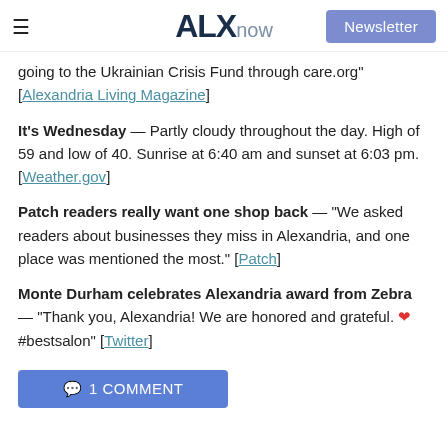ALXnow | Newsletter
going to the Ukrainian Crisis Fund through care.org" [Alexandria Living Magazine]
It's Wednesday — Partly cloudy throughout the day. High of 59 and low of 40. Sunrise at 6:40 am and sunset at 6:03 pm. [Weather.gov]
Patch readers really want one shop back — "We asked readers about businesses they miss in Alexandria, and one place was mentioned the most." [Patch]
Monte Durham celebrates Alexandria award from Zebra — "Thank you, Alexandria! We are honored and grateful. ❤️ #bestsalon" [Twitter]
1 COMMENT